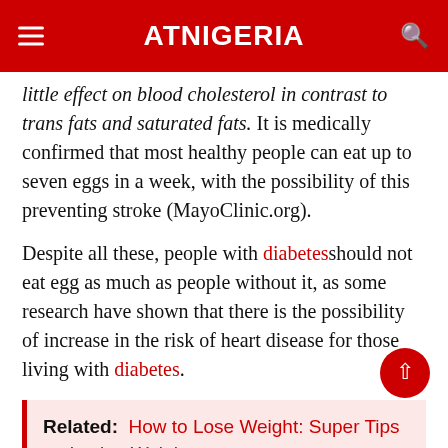ATNIGERIA
little effect on blood cholesterol in contrast to trans fats and saturated fats. It is medically confirmed that most healthy people can eat up to seven eggs in a week, with the possibility of this preventing stroke (MayoClinic.org).
Despite all these, people with diabetes should not eat egg as much as people without it, as some research have shown that there is the possibility of increase in the risk of heart disease for those living with diabetes.
Related: How to Lose Weight: Super Tips on Losing Weight
Body response to egg consumption varies between individual --- 70% of people who eat